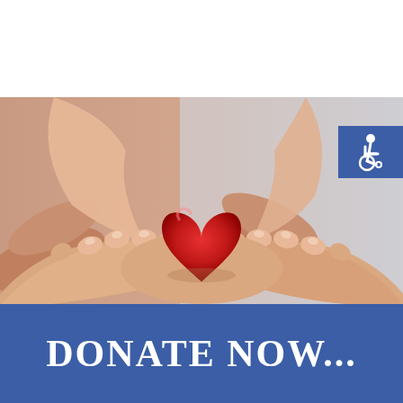[Figure (photo): Two sets of hands cupped together holding a red heart shape, photographed against a light gray background. The image conveys charity and donation.]
[Figure (logo): International Symbol of Access (wheelchair accessibility icon) shown as a white symbol on a blue square background, positioned in the upper right of the photo area.]
DONATE NOW...